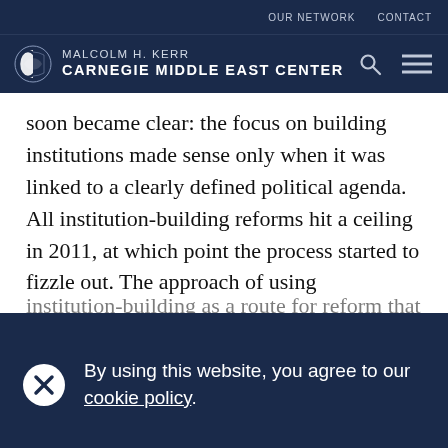OUR NETWORK   CONTACT
MALCOLM H. KERR CARNEGIE MIDDLE EAST CENTER
soon became clear: the focus on building institutions made sense only when it was linked to a clearly defined political agenda. All institution-building reforms hit a ceiling in 2011, at which point the process started to fizzle out. The approach of using
By using this website, you agree to our cookie policy.